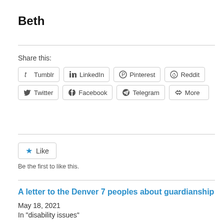Beth
Share this:
Tumblr  LinkedIn  Pinterest  Reddit  Twitter  Facebook  Telegram  More
Like
Be the first to like this.
A letter to the Denver 7 peoples about guardianship
May 18, 2021
In "disability issues"